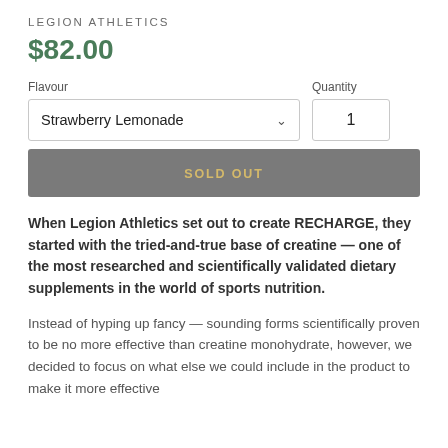LEGION ATHLETICS
$82.00
Flavour
Strawberry Lemonade
Quantity
1
SOLD OUT
When Legion Athletics set out to create RECHARGE, they started with the tried-and-true base of creatine — one of the most researched and scientifically validated dietary supplements in the world of sports nutrition.
Instead of hyping up fancy — sounding forms scientifically proven to be no more effective than creatine monohydrate, however, we decided to focus on what else we could include in the product to make it more effective